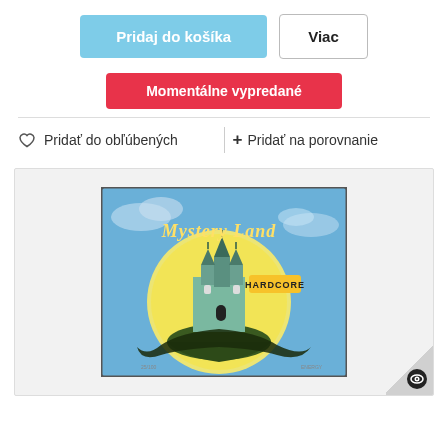Pridaj do košíka
Viac
Momentálne vypredané
Pridať do obľúbených
Pridať na porovnanie
[Figure (photo): CD case for Mystery Land Hardcore compilation, showing artwork with a fantasy castle on a floating island in front of a large moon, blue sky background]